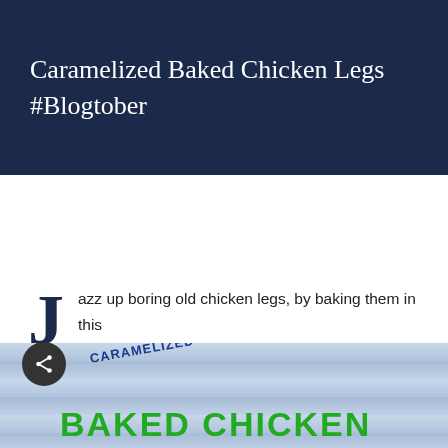Caramelized Baked Chicken Legs #Blogtober
Jazz up boring old chicken legs, by baking them in this delicious sweet and savoury glaze.
[Figure (photo): Partial image showing text overlaid on a wood-plank background: 'CARAMELIZED' in blue diagonal text and 'BAKED CHICKEN' in large green bold text. A dark circular share button with a share icon is visible at the left edge.]